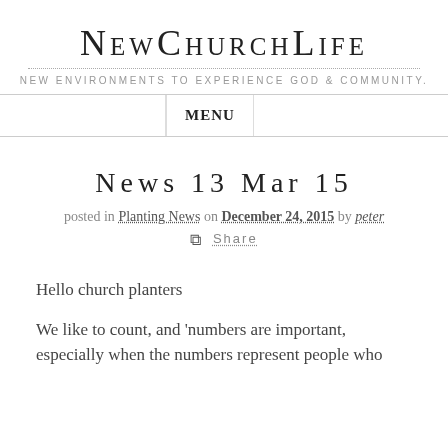NewChurchLife
NEW ENVIRONMENTS TO EXPERIENCE GOD & COMMUNITY.
MENU
NEWS 13 MAR 15
posted in Planting News on December 24, 2015 by peter
SHARE
Hello church planters
We like to count, and 'numbers are important, especially when the numbers represent people who